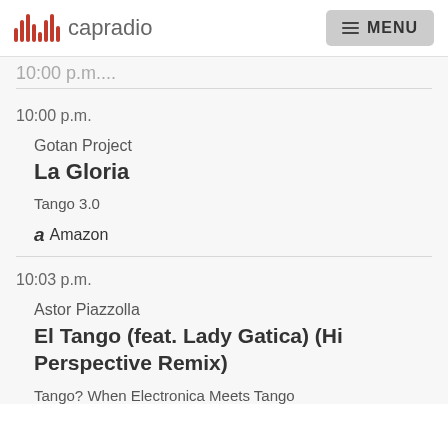capradio MENU
10:00 p.m.
Gotan Project
La Gloria
Tango 3.0
Amazon
10:03 p.m.
Astor Piazzolla
El Tango (feat. Lady Gatica) (Hi Perspective Remix)
Tango? When Electronica Meets Tango